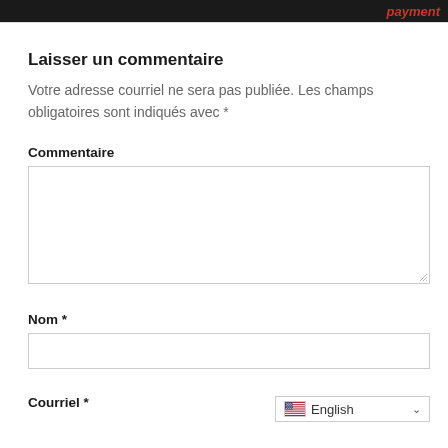payment
Laisser un commentaire
Votre adresse courriel ne sera pas publiée. Les champs obligatoires sont indiqués avec *
Commentaire
[Figure (other): Large text area input box for comment entry]
Nom *
[Figure (other): Single-line text input box for name]
Courriel *
[Figure (other): Language selector dropdown showing English with US flag]